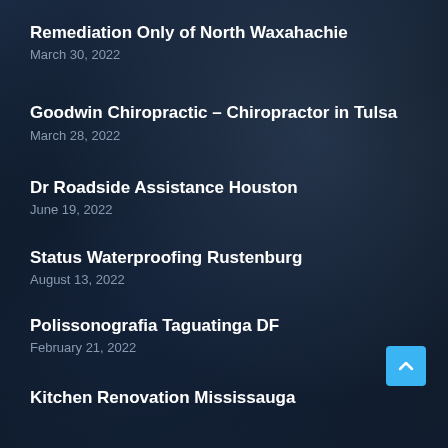Remediation Only of North Waxahachie
March 30, 2022
Goodwin Chiropractic – Chiropractor in Tulsa
March 28, 2022
Dr Roadside Assistance Houston
June 19, 2022
Status Waterproofing Rustenburg
August 13, 2022
Polissonografia Taguatinga DF
February 21, 2022
Kitchen Renovation Mississauga